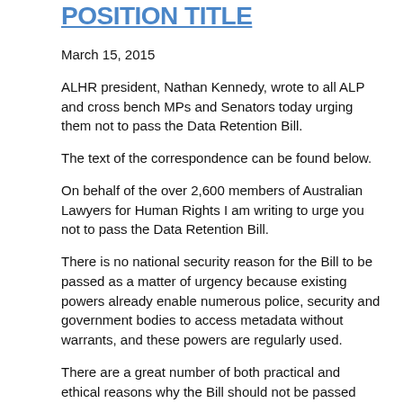POSITION TITLE
March 15, 2015
ALHR president, Nathan Kennedy, wrote to all ALP and cross bench MPs and Senators today urging them not to pass the Data Retention Bill.
The text of the correspondence can be found below.
On behalf of the over 2,600 members of Australian Lawyers for Human Rights I am writing to urge you not to pass the Data Retention Bill.
There is no national security reason for the Bill to be passed as a matter of urgency because existing powers already enable numerous police, security and government bodies to access metadata without warrants, and these powers are regularly used.
There are a great number of both practical and ethical reasons why the Bill should not be passed and should be abandoned in its entirety.  The Bill severely infringes Australians' rights to privacy and chills their freedom of speech and freedom of assembly (to communicate). All Australians are effectively treated as suspects.  It is an attack on the